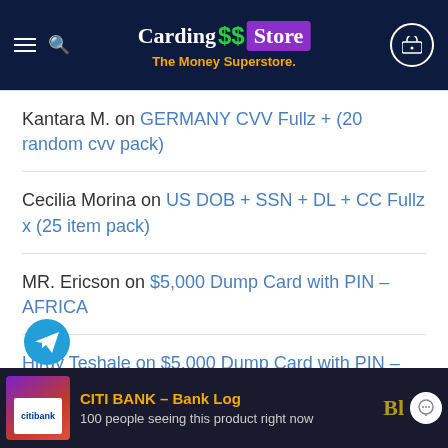Carding$$ Store – The Money Superstore.
Kantara M. on GERMANY CVV Fullz + (20 random cvv pack)
Cecilia Morina on US DOB + SSN + DL + CC Fullz x (25 item pack)
MR. Ericson on $5,000 Dump Card with PIN – AFRICA
Hiruy Teshale on $5,000 Dump Card with PIN – AFRICA
[Figure (screenshot): Bottom banner showing Citibank bank log product with text: CITI BANK – Bank Log, 100 people seeing this product right now]